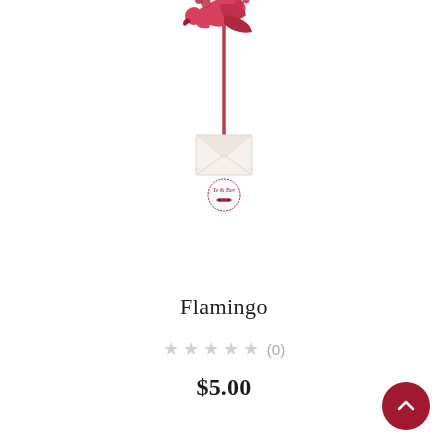[Figure (illustration): A decorative flamingo cake topper or ornament on a red stick with a white envelope and a small logo/stamp featuring a bow, shown against a white background.]
Flamingo
★★★★★ (0)
$5.00